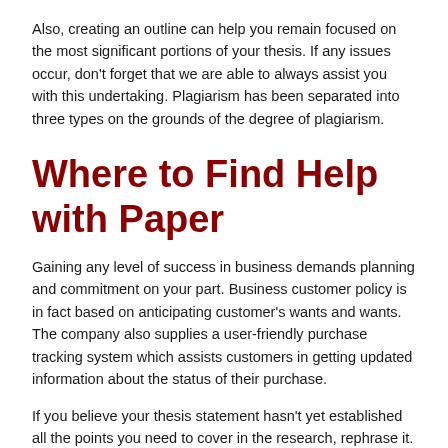Also, creating an outline can help you remain focused on the most significant portions of your thesis. If any issues occur, don't forget that we are able to always assist you with this undertaking. Plagiarism has been separated into three types on the grounds of the degree of plagiarism.
Where to Find Help with Paper
Gaining any level of success in business demands planning and commitment on your part. Business customer policy is in fact based on anticipating customer's wants and wants. The company also supplies a user-friendly purchase tracking system which assists customers in getting updated information about the status of their purchase.
If you believe your thesis statement hasn't yet established all the points you need to cover in the research, rephrase it. When choosing your topic examples will be able to help you know how to organize your content together with give ideas about what to write. Plagiarism has been separated into three types on the grounds of the degree of plagiarism.